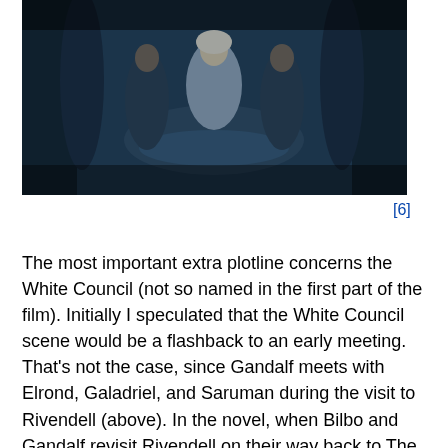[Figure (photo): A dark-toned film still showing figures in a ornate chamber, likely from The Hobbit film. Blue and teal color palette with characters seated around a table.]
[6]
The most important extra plotline concerns the White Council (not so named in the first part of the film). Initially I speculated that the White Council scene would be a flashback to an early meeting. That's not the case, since Gandalf meets with Elrond, Galadriel, and Saruman during the visit to Rivendell (above). In the novel, when Bilbo and Gandalf revisit Rivendell on their way back to The Shire, the Hobbit simply overhears Gandalf talking to Elrond: “It appeared that Gandalf had been to a great council of the white wizards, masters of lore and good magic; and that they had at last driven the Necromancer from his dark hold in the south of Mirkwood.”
Here, by the way, is an example of the sort of inconsistent plot points that Tolkien presumably hoped to eliminate when he struggled to revise The Hobbit in the early 1960s. By then he had written LOTR